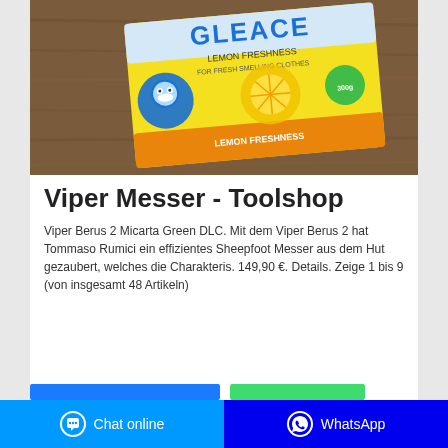[Figure (photo): Product photo of a yellow Gleace Lemon Freshness package on a wooden table surface]
Viper Messer - Toolshop
Viper Berus 2 Micarta Green DLC. Mit dem Viper Berus 2 hat Tommaso Rumici ein effizientes Sheepfoot Messer aus dem Hut gezaubert, welches die Charakteris. 149,90 €. Details. Zeige 1 bis 9 (von insgesamt 48 Artikeln)
Chat online | WhatsApp